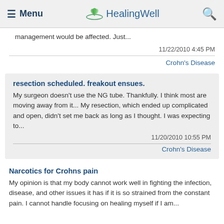Menu | HealingWell | Search
management would be affected. Just...
11/22/2010 4:45 PM
Crohn's Disease
resection scheduled. freakout ensues.
My surgeon doesn't use the NG tube. Thankfully. I think most are moving away from it... My resection, which ended up complicated and open, didn't set me back as long as I thought. I was expecting to...
11/20/2010 10:55 PM
Crohn's Disease
Narcotics for Crohns pain
My opinion is that my body cannot work well in fighting the infection, disease, and other issues it has if it is so strained from the constant pain. I cannot handle focusing on healing myself if I am...